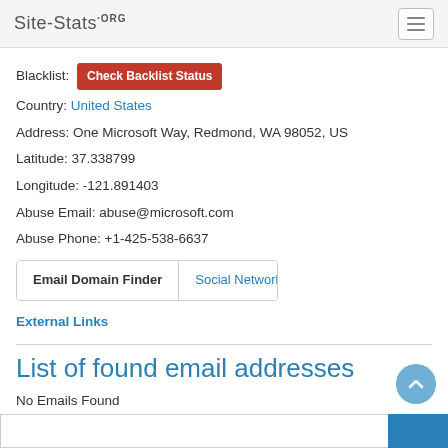Site-Stats.ORG
Blacklist: Check Backlist Status
Country: United States
Address: One Microsoft Way, Redmond, WA 98052, US
Latitude: 37.338799
Longitude: -121.891403
Abuse Email: abuse@microsoft.com
Abuse Phone: +1-425-538-6637
Email Domain Finder | Social Networks
External Links
List of found email addresses
No Emails Found